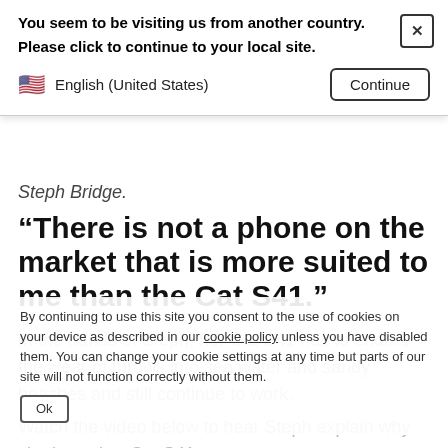You seem to be visiting us from another country.
Please click to continue to your local site.
English (United States)   Continue
Steph Bridge.
“There is not a phone on the market that is more suited to me than the Cat S41.”
In the hands of Steph, her Cat S41 has to endure the wear of throws into sea water and sandy beaches and still continue to work.
Watch the video below to hear Steph explain why she loves her Cat S41:
By continuing to use this site you consent to the use of cookies on your device as described in our cookie policy unless you have disabled them. You can change your cookie settings at any time but parts of our site will not function correctly without them.
Ok